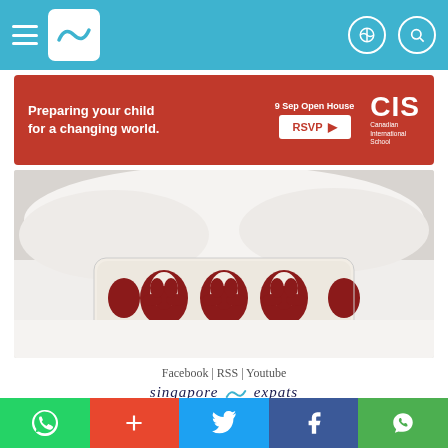Singapore Expats navigation header with hamburger menu, logo, and icons
[Figure (illustration): Red advertisement banner for Canadian International School: 'Preparing your child for a changing world.' with '9 Sep Open House RSVP' button and CIS logo]
[Figure (photo): Close-up photo of a decorative red and white damask-patterned pillow on white bedding]
Facebook | RSS | Youtube
[Figure (logo): Singapore Expats logo with stylized wave and italic text 'singapore expats']
Singapore Expats - The Leading Expatriate & Singapore Property Portal
Singapore Property, Singapore guide on expat relocation, Singapore housing, living.
Sales, rental of apartment, Singapore condo, house, HDB flat.
Copyright © 2002 to 2022 SingaporeExpats.com Pte Ltd, All Rights Reserved.
Terms and Conditions of Use.
Social share bar: WhatsApp, Plus, Twitter, Facebook, WeChat